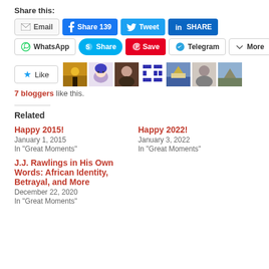Share this:
Email | Share 139 | Tweet | SHARE | WhatsApp | Share | Save | Telegram | More
[Figure (other): Like button with star icon and 7 blogger avatar thumbnails]
7 bloggers like this.
Related
Happy 2015!
January 1, 2015
In "Great Moments"
Happy 2022!
January 3, 2022
In "Great Moments"
J.J. Rawlings in His Own Words: African Identity, Betrayal, and More
December 22, 2020
In "Great Moments"